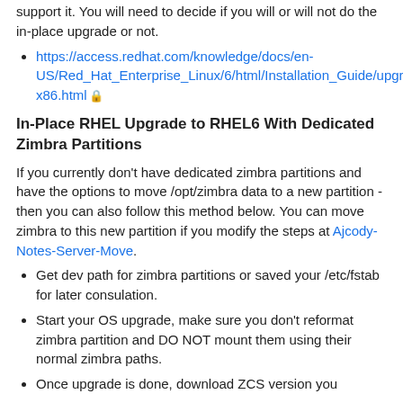support it. You will need to decide if you will or will not do the in-place upgrade or not.
https://access.redhat.com/knowledge/docs/en-US/Red_Hat_Enterprise_Linux/6/html/Installation_Guide/upgrade-x86.html 🔒
In-Place RHEL Upgrade to RHEL6 With Dedicated Zimbra Partitions
If you currently don't have dedicated zimbra partitions and have the options to move /opt/zimbra data to a new partition - then you can also follow this method below. You can move zimbra to this new partition if you modify the steps at Ajcody-Notes-Server-Move.
Get dev path for zimbra partitions or saved your /etc/fstab for later consulation.
Start your OS upgrade, make sure you don't reformat zimbra partition and DO NOT mount them using their normal zimbra paths.
Once upgrade is done, download ZCS version you